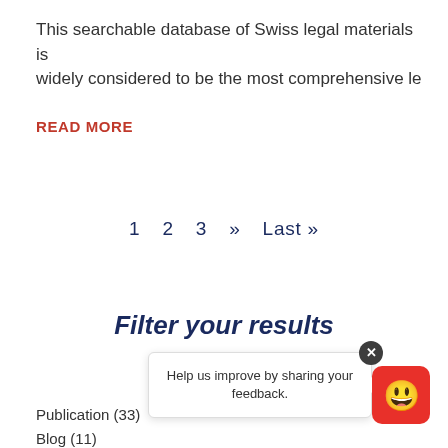This searchable database of Swiss legal materials is widely considered to be the most comprehensive le
READ MORE
1  2  3  »  Last »
Filter your results
TYPE
Publication (33)
Blog (11)
Help us improve by sharing your feedback.